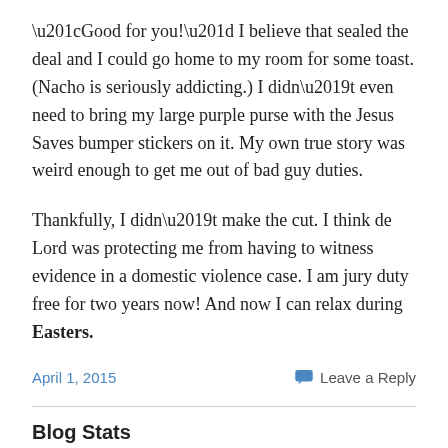“Good for you!” I believe that sealed the deal and I could go home to my room for some toast. (Nacho is seriously addicting.) I didn’t even need to bring my large purple purse with the Jesus Saves bumper stickers on it. My own true story was weird enough to get me out of bad guy duties.
Thankfully, I didn’t make the cut. I think de Lord was protecting me from having to witness evidence in a domestic violence case. I am jury duty free for two years now! And now I can relax during Easters.
April 1, 2015   Leave a Reply
Blog Stats